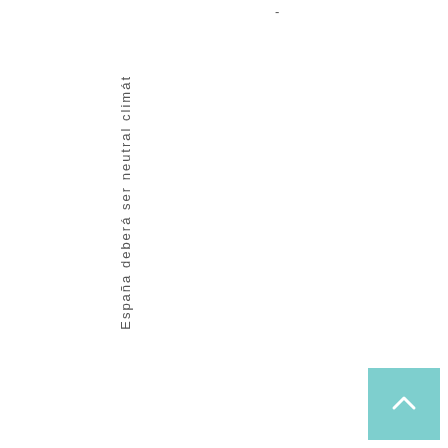-
España deberá ser neutral climát